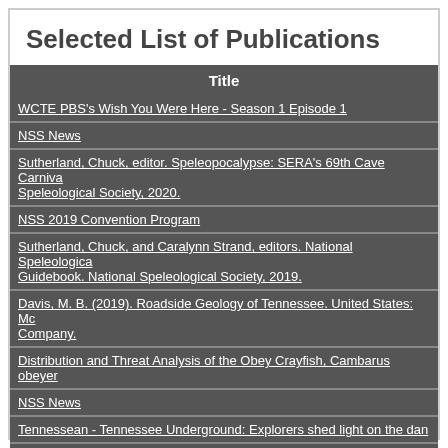Selected List of Publications
| Title |
| --- |
| WCTE PBS's Wish You Were Here - Season 1 Episode 1 |
| NSS News |
| Sutherland, Chuck, editor. Speleopocalypse: SERA's 69th Cave Carnival. Southeastern Regional Association, National Speleological Society, 2020. |
| NSS 2019 Convention Program |
| Sutherland, Chuck, and Caralynn Strand, editors. National Speleological Society Convention Guidebook. National Speleological Society, 2019. |
| Davis, M. B. (2019). Roadside Geology of Tennessee. United States: Mountain Press Publishing Company. |
| Distribution and Threat Analysis of the Obey Crayfish, Cambarus obeyensis |
| NSS News |
| Tennessean - Tennessee Underground: Explorers shed light on the dangerous caves |
| Employee of the Year Award: Upper Cumberland Development District - Tennessee Emergency Management Development |
| Tennessee Comb Grave Tradition, Tennessee Folklore Society Bulletin, Vol. LXXIX, Spring & Fall 2014 (published late |
| Best of the National Speleological Society 2018, Award Winning Cave Photography |
| SERA's Francis McKinney Award |
| NSS News |
| Sutherland, Chuck, editor. Speleopocalypse: SERA's 69th Cave Carnival. (2018) Delinations for Main Karst... |